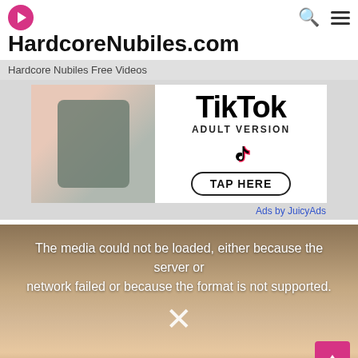HardcoreNubiles.com
Hardcore Nubiles Free Videos
[Figure (screenshot): Advertisement banner featuring TikTok Adult Version with tap here button and JuicyAds attribution]
Ads by JuicyAds
[Figure (screenshot): Video player showing error message: The media could not be loaded, either because the server or network failed or because the format is not supported. Background shows a young woman looking up. An X symbol is visible in the center.]